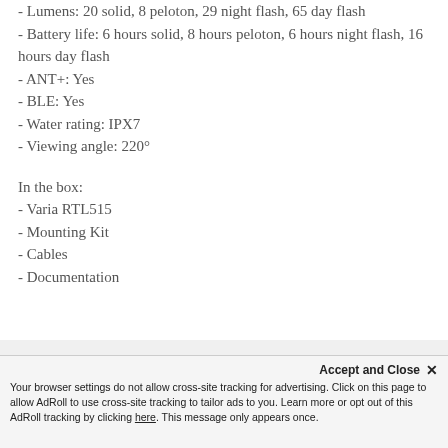- Lumens: 20 solid, 8 peloton, 29 night flash, 65 day flash
- Battery life: 6 hours solid, 8 hours peloton, 6 hours night flash, 16 hours day flash
- ANT+: Yes
- BLE: Yes
- Water rating: IPX7
- Viewing angle: 220°
In the box:
- Varia RTL515
- Mounting Kit
- Cables
- Documentation
Accept and Close ✕
Your browser settings do not allow cross-site tracking for advertising. Click on this page to allow AdRoll to use cross-site tracking to tailor ads to you. Learn more or opt out of this AdRoll tracking by clicking here. This message only appears once.